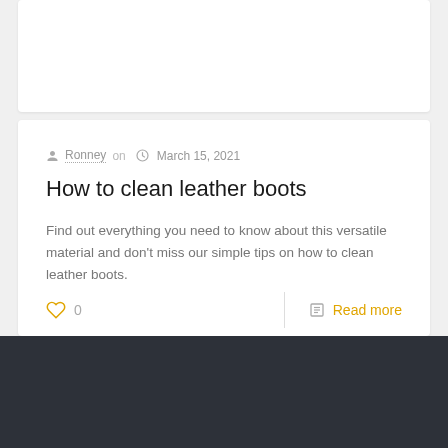Ronney on  March 15, 2021
How to clean leather boots
Find out everything you need to know about this versatile material and don't miss our simple tips on how to clean leather boots.
0   Read more